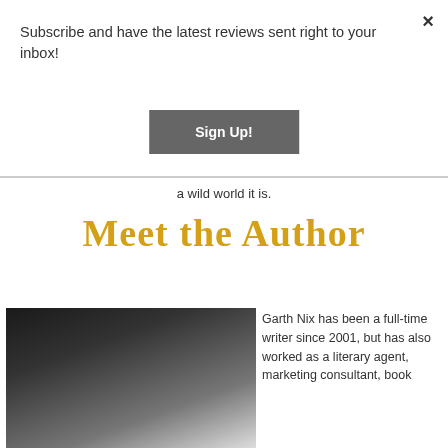Subscribe and have the latest reviews sent right to your inbox!
Sign Up!
a wild world it is.
MEET THE AUTHOR
[Figure (photo): Headshot of Garth Nix, a man with glasses wearing dark clothing, photographed indoors]
Garth Nix has been a full-time writer since 2001, but has also worked as a literary agent, marketing consultant, book